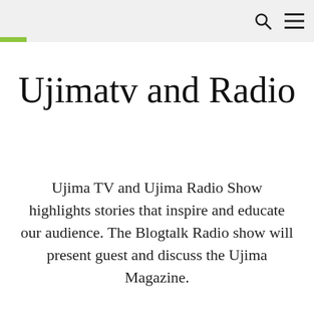Ujimatv and Radio
Ujima TV and Ujima Radio Show highlights stories that inspire and educate our audience. The Blogtalk Radio show will present guest and discuss the Ujima Magazine.